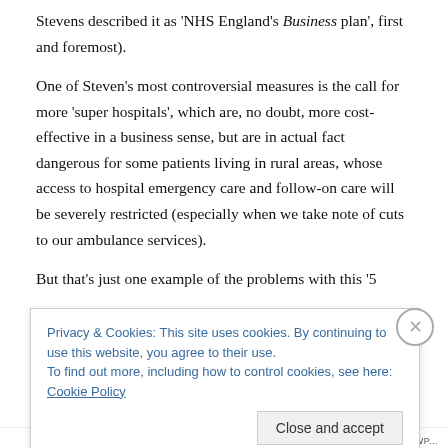Stevens described it as 'NHS England's Business plan', first and foremost).
One of Steven's most controversial measures is the call for more 'super hospitals', which are, no doubt, more cost-effective in a business sense, but are in actual fact dangerous for some patients living in rural areas, whose access to hospital emergency care and follow-on care will be severely restricted (especially when we take note of cuts to our ambulance services).
But that's just one example of the problems with this '5
Privacy & Cookies: This site uses cookies. By continuing to use this website, you agree to their use.
To find out more, including how to control cookies, see here: Cookie Policy
Close and accept